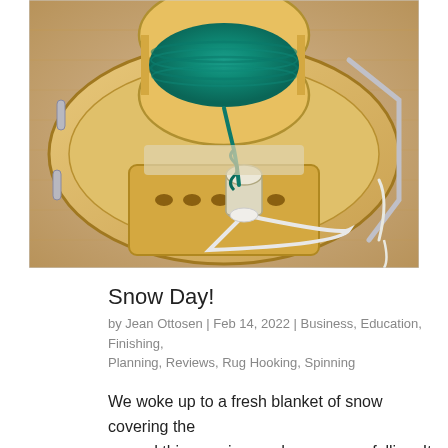[Figure (photo): Overhead view of a spinning wheel with teal/green yarn wound on a bobbin spool, placed on a wooden floor surface. The wheel has a wooden frame with metal accents and a white cord visible.]
Snow Day!
by Jean Ottosen | Feb 14, 2022 | Business, Education, Finishing, Planning, Reviews, Rug Hooking, Spinning
We woke up to a fresh blanket of snow covering the ground this morning, and more snow falling. It was quiet